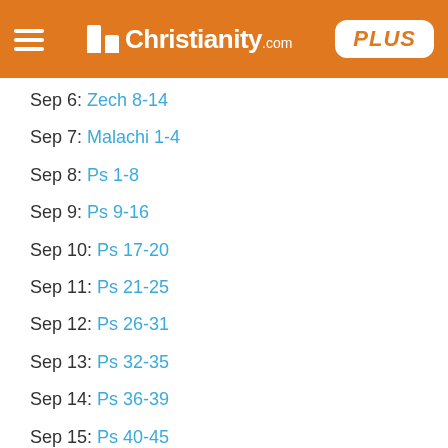Christianity.com PLUS
Sep 6: Zech 8-14
Sep 7: Malachi 1-4
Sep 8: Ps 1-8
Sep 9: Ps 9-16
Sep 10: Ps 17-20
Sep 11: Ps 21-25
Sep 12: Ps 26-31
Sep 13: Ps 32-35
Sep 14: Ps 36-39
Sep 15: Ps 40-45
Sep 16: Ps 46-50
Sep 17: Ps 51-57
Sep 18: Ps 58-65